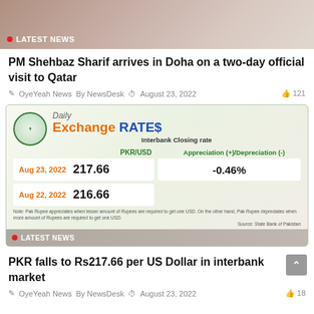[Figure (photo): Top banner image showing people, partially cropped, with LATEST NEWS badge overlay]
PM Shehbaz Sharif arrives in Doha on a two-day official visit to Qatar
OyeYeah News  By NewsDesk  August 23, 2022  121
[Figure (infographic): Daily Exchange RATES infographic from State Bank of Pakistan showing PKR/USD interbank closing rate. Aug 23 2022: 217.66, Depreciation -0.46%. Aug 22 2022: 216.66.]
[Figure (photo): Bottom banner image with LATEST NEWS badge overlay]
PKR falls to Rs217.66 per US Dollar in interbank market
OyeYeah News  By NewsDesk  August 23, 2022  18